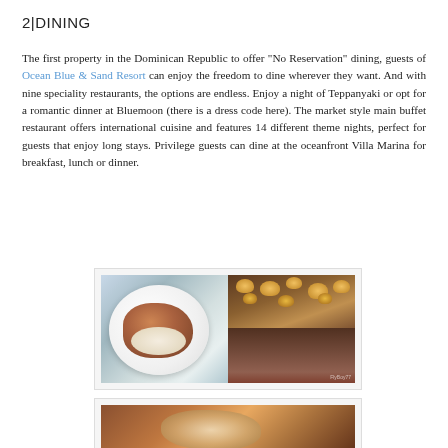2|DINING
The first property in the Dominican Republic to offer "No Reservation" dining, guests of Ocean Blue & Sand Resort can enjoy the freedom to dine wherever they want. And with nine speciality restaurants, the options are endless. Enjoy a night of Teppanyaki or opt for a romantic dinner at Bluemoon (there is a dress code here). The market style main buffet restaurant offers international cuisine and features 14 different theme nights, perfect for guests that enjoy long stays. Privilege guests can dine at the oceanfront Villa Marina for breakfast, lunch or dinner.
[Figure (photo): Two side-by-side photos: left shows a plate of food with meat and rice, right shows the interior of a restaurant with warm pendant lighting and open dining area]
[Figure (photo): Partial photo of a food dish, cropped at bottom of page]